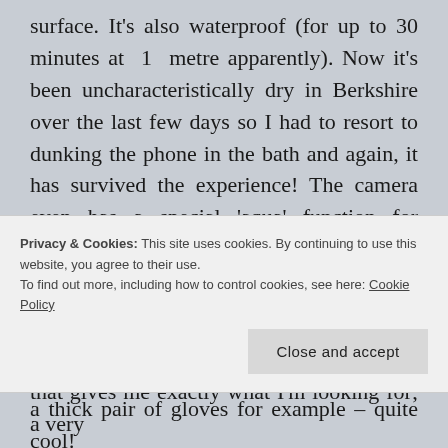surface. It's also waterproof (for up to 30 minutes at 1 metre apparently). Now it's been uncharacteristically dry in Berkshire over the last few days so I had to resort to dunking the phone in the bath and again, it has survived the experience! The camera even has a special 'aqua' function for shooting underwater. I did this in the shower but I'm afraid that particular video remains classified. It also has an 'air gesture' feature that allows the device to be operated (to a certain extent) while wearing a thick pair of gloves for example – quite cool!
Privacy & Cookies: This site uses cookies. By continuing to use this website, you agree to their use.
To find out more, including how to control cookies, see here: Cookie Policy
Close and accept
that gives me exactly what I'm looking for; a very